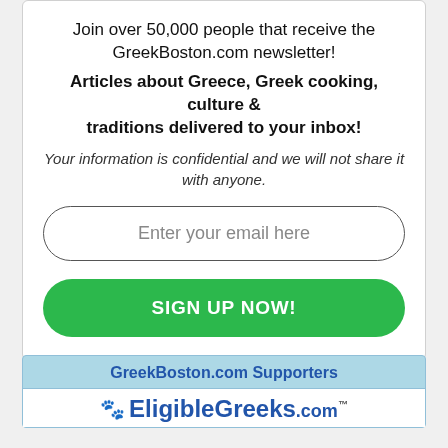Join over 50,000 people that receive the GreekBoston.com newsletter!
Articles about Greece, Greek cooking, culture & traditions delivered to your inbox!
Your information is confidential and we will not share it with anyone.
[Figure (other): Email input field with placeholder text 'Enter your email here' and a green 'SIGN UP NOW!' button below it]
GreekBoston.com Supporters
[Figure (logo): EligibleGreeks.com logo with paw print icon]